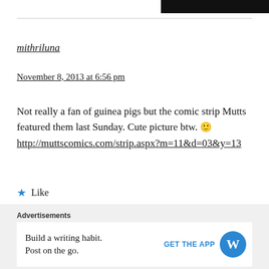mithriluna
November 8, 2013 at 6:56 pm
Not really a fan of guinea pigs but the comic strip Mutts featured them last Sunday. Cute picture btw. 🙂 http://muttscomics.com/strip.aspx?m=11&d=03&y=13
★ Like
Reply
Advertisements
Build a writing habit.
Post on the go.
GET THE APP